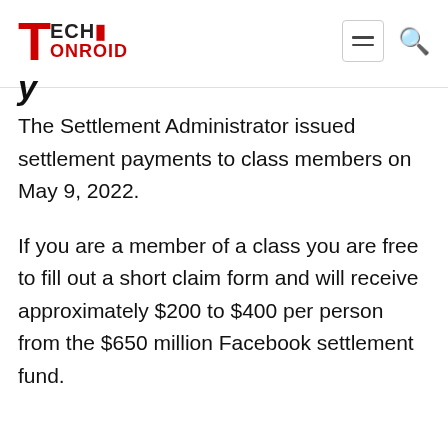Techionroid
The Settlement Administrator issued settlement payments to class members on May 9, 2022.
If you are a member of a class you are free to fill out a short claim form and will receive approximately $200 to $400 per person from the $650 million Facebook settlement fund.